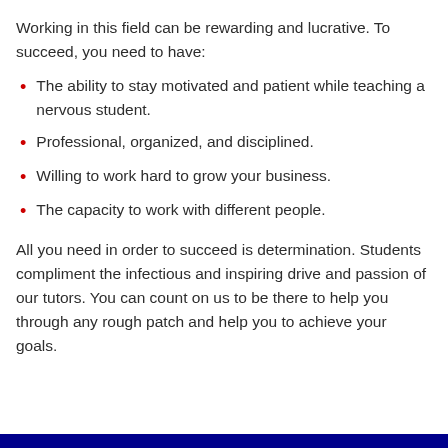Working in this field can be rewarding and lucrative. To succeed, you need to have:
The ability to stay motivated and patient while teaching a nervous student.
Professional, organized, and disciplined.
Willing to work hard to grow your business.
The capacity to work with different people.
All you need in order to succeed is determination. Students compliment the infectious and inspiring drive and passion of our tutors. You can count on us to be there to help you through any rough patch and help you to achieve your goals.